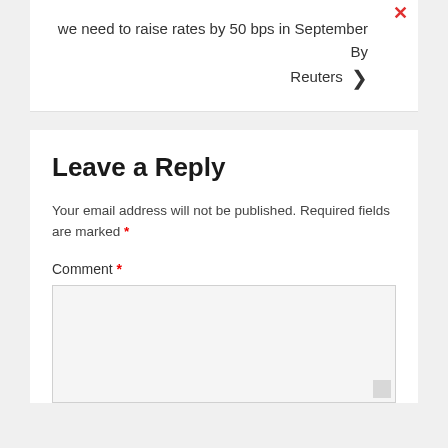we need to raise rates by 50 bps in September By Reuters
Leave a Reply
Your email address will not be published. Required fields are marked *
Comment *